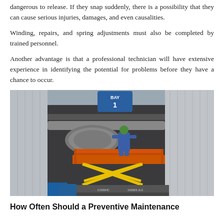dangerous to release. If they snap suddenly, there is a possibility that they can cause serious injuries, damages, and even causalities.
Winding, repairs, and spring adjustments must also be completed by trained personnel.
Another advantage is that a professional technician will have extensive experience in identifying the potential for problems before they have a chance to occur.
[Figure (photo): A technician in blue coveralls and hard hat standing on an orange scissor lift platform, working on industrial ductwork at the top of a large warehouse bay door marked 'BAY 1'. The building exterior is metal cladding.]
How Often Should a Preventive Maintenance